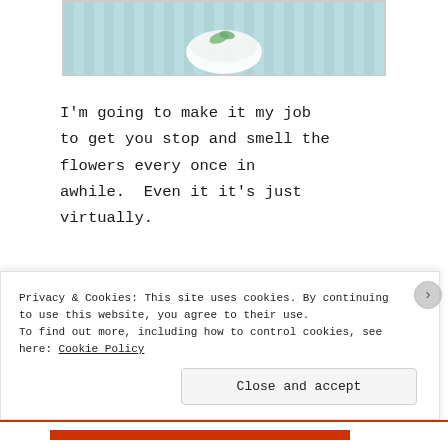[Figure (photo): Partial view of a food photo showing what appears to be a white bowl or plate with food on a striped teal/blue background, cropped at the top of the page.]
I'm going to make it my job to get you stop and smell the flowers every once in awhile.  Even it it's just virtually.
I actually started out taking pictures of my Frozen Vanilla
Privacy & Cookies: This site uses cookies. By continuing to use this website, you agree to their use.
To find out more, including how to control cookies, see here: Cookie Policy
Close and accept